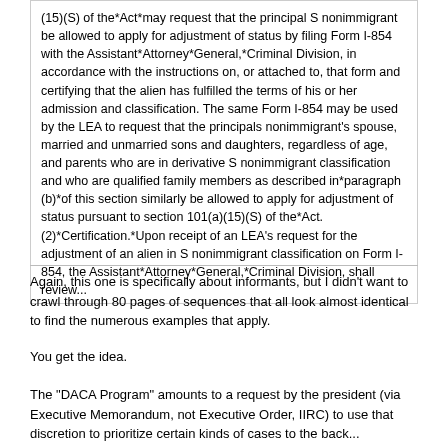(15)(S) of the*Act*may request that the principal S nonimmigrant be allowed to apply for adjustment of status by filing Form I-854 with the Assistant*Attorney*General,*Criminal Division, in accordance with the instructions on, or attached to, that form and certifying that the alien has fulfilled the terms of his or her admission and classification. The same Form I-854 may be used by the LEA to request that the principals nonimmigrant's spouse, married and unmarried sons and daughters, regardless of age, and parents who are in derivative S nonimmigrant classification and who are qualified family members as described in*paragraph (b)*of this section similarly be allowed to apply for adjustment of status pursuant to section 101(a)(15)(S) of the*Act. (2)*Certification.*Upon receipt of an LEA's request for the adjustment of an alien in S nonimmigrant classification on Form I-854, the Assistant*Attorney*General,*Criminal Division, shall review...
Again, this one is specifically about informants, but I didn't want to crawl through 80 pages of sequences that all look almost identical to find the numerous examples that apply.
You get the idea.
The "DACA Program" amounts to a request by the president (via Executive Memorandum, not Executive Order, IIRC) to use that discretion to prioritize certain kinds of cases to the back...